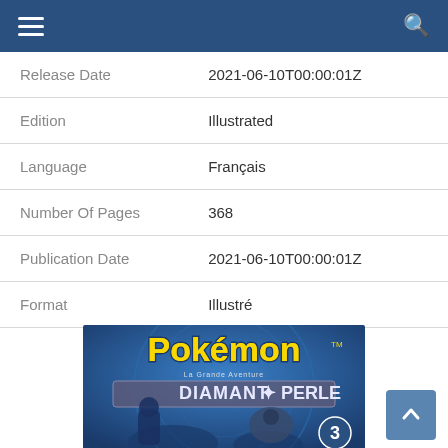navigation header with menu and search icons
| Field | Value |
| --- | --- |
| Release Date | 2021-06-10T00:00:01Z |
| Edition | Illustrated |
| Language | Français |
| Number Of Pages | 368 |
| Publication Date | 2021-06-10T00:00:01Z |
| Format | Illustré |
[Figure (photo): Pokémon La Grande Aventure Diamant et Perle volume 3 book cover with Pokémon characters on blue background]